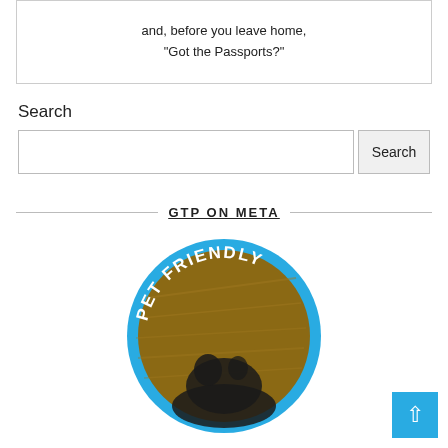and, before you leave home,
"Got the Passports?"
Search
[Figure (screenshot): Search input field with a Search button]
GTP ON META
[Figure (photo): Circular image with blue border showing a pet-friendly badge with text 'PET FRIENDLY' and a dog in a field]
[Figure (other): Back to top button — blue square with white upward arrow]